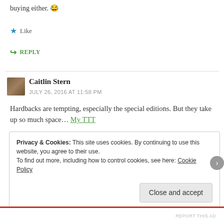buying either. 😂
★ Like
↪ REPLY
Caitlin Stern
JULY 26, 2016 AT 11:58 PM
Hardbacks are tempting, especially the special editions. But they take up so much space... My TTT
★ Like
Privacy & Cookies: This site uses cookies. By continuing to use this website, you agree to their use. To find out more, including how to control cookies, see here: Cookie Policy
Close and accept